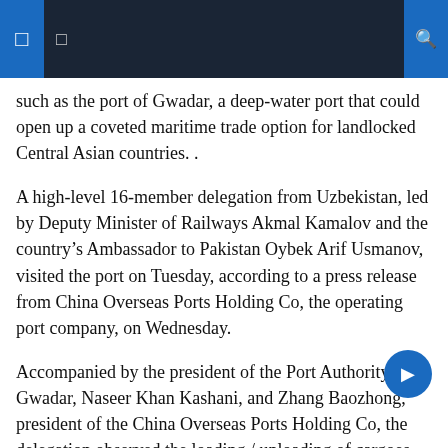Navigation header with menu icons and search
such as the port of Gwadar, a deep-water port that could open up a coveted maritime trade option for landlocked Central Asian countries. .
A high-level 16-member delegation from Uzbekistan, led by Deputy Minister of Railways Akmal Kamalov and the country’s Ambassador to Pakistan Oybek Arif Usmanov, visited the port on Tuesday, according to a press release from China Overseas Ports Holding Co, the operating port company, on Wednesday.
Accompanied by the president of the Port Authority of Gwadar, Naseer Khan Kashani, and Zhang Baozhong, president of the China Overseas Ports Holding Co, the delegation observed the loading / unloading of cargoes by a container ship operated by the Chinese giant of the maritime transport COSCO Shipping Holdings. They